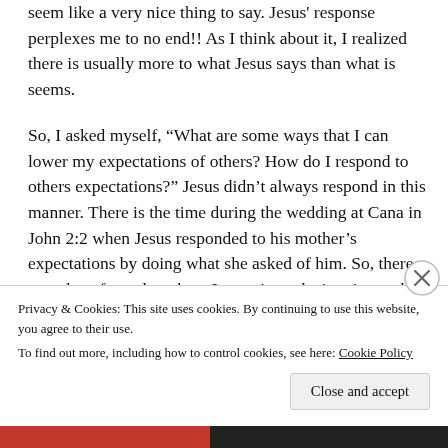seem like a very nice thing to say. Jesus' response perplexes me to no end!! As I think about it, I realized there is usually more to what Jesus says than what is seems.
So, I asked myself, “What are some ways that I can lower my expectations of others? How do I respond to others expectations?” Jesus didn’t always respond in this manner. There is the time during the wedding at Cana in John 2:2 when Jesus responded to his mother’s expectations by doing what she asked of him. So, there must be a formula to how I react in each situation and with different individuals. Well, maybe not a formula, but at least some
Privacy & Cookies: This site uses cookies. By continuing to use this website, you agree to their use.
To find out more, including how to control cookies, see here: Cookie Policy
Close and accept